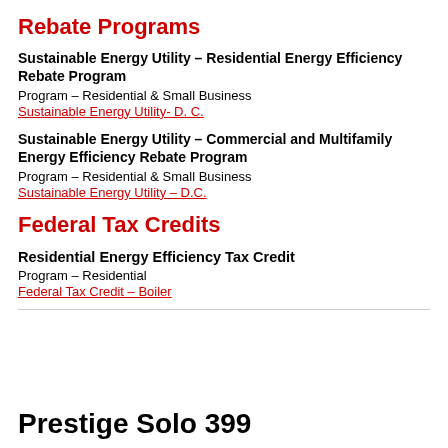Rebate Programs
Sustainable Energy Utility – Residential Energy Efficiency Rebate Program
Program – Residential & Small Business
Sustainable Energy Utility- D. C.
Sustainable Energy Utility – Commercial and Multifamily Energy Efficiency Rebate Program
Program – Residential & Small Business
Sustainable Energy Utility – D.C.
Federal Tax Credits
Residential Energy Efficiency Tax Credit
Program – Residential
Federal Tax Credit – Boiler
Prestige Solo 399